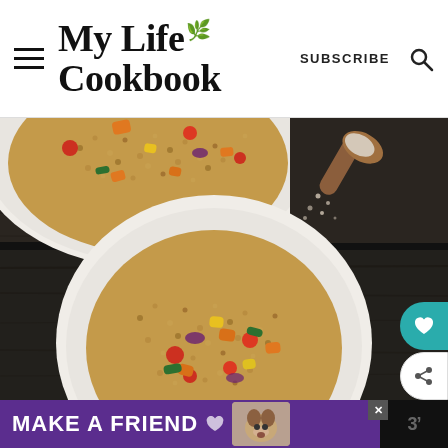My Life Cookbook
[Figure (photo): Two white bowls of quinoa with roasted vegetables (cherry tomatoes, zucchini, carrots, red onion) on a dark wooden table, with a wooden spoon holding salt/spices in the top right. Overhead/top-down food photography.]
[Figure (photo): Advertisement banner: purple background with text MAKE A FRIEND and a dog photo on the right side.]